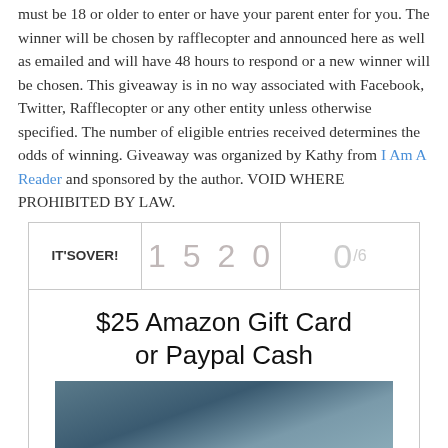must be 18 or older to enter or have your parent enter for you. The winner will be chosen by rafflecopter and announced here as well as emailed and will have 48 hours to respond or a new winner will be chosen. This giveaway is in no way associated with Facebook, Twitter, Rafflecopter or any other entity unless otherwise specified. The number of eligible entries received determines the odds of winning. Giveaway was organized by Kathy from I Am A Reader and sponsored by the author. VOID WHERE PROHIBITED BY LAW.
[Figure (screenshot): Rafflecopter widget showing IT'S OVER!, entry count 1520, score 0/6, prize title '$25 Amazon Gift Card or Paypal Cash', and a book cover image]